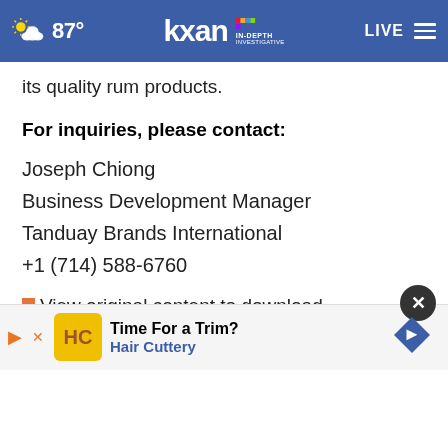[Figure (screenshot): KXAN news website header navigation bar with weather icon showing 87°, KXAN NBC In-Depth Investigative logo in center, LIVE button and hamburger menu on right, all on blue background]
its quality rum products.
For inquiries, please contact:
Joseph Chiong
Business Development Manager
Tanduay Brands International
+1 (714) 588-6760
View original content to download
multimedia:https://www.prnewswire.com/news-relea...-to-
[Figure (screenshot): Advertisement for Hair Cuttery with Time For a Trim? slogan, yellow HC logo, navigation arrow, and close X button]